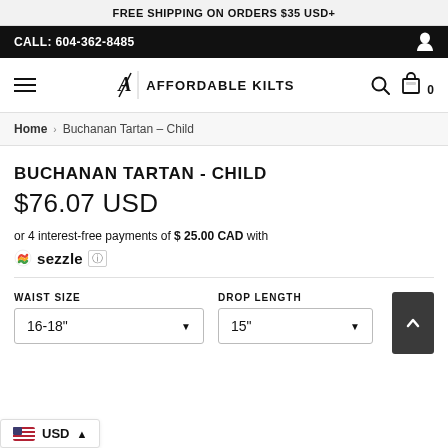FREE SHIPPING ON ORDERS $35 USD+
CALL: 604-362-8485
AFFORDABLE KILTS
Home › Buchanan Tartan - Child
BUCHANAN TARTAN - CHILD
$76.07 USD
or 4 interest-free payments of $ 25.00 CAD with Sezzle
WAIST SIZE
16-18"
DROP LENGTH
15"